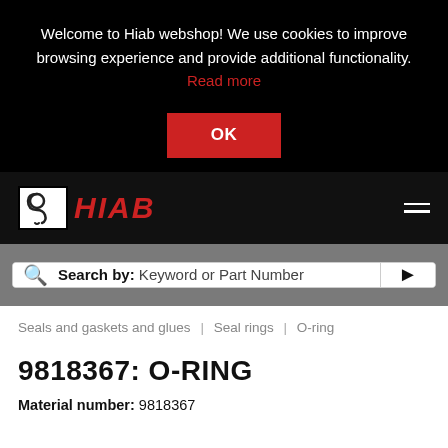Welcome to Hiab webshop! We use cookies to improve browsing experience and provide additional functionality. Read more
OK
[Figure (logo): Hiab logo: stylized crane hook icon in white on white background with black border, followed by red italic HIAB text]
Search by: Keyword or Part Number
Seals and gaskets and glues | Seal rings | O-ring
9818367: O-RING
Material number: 9818367